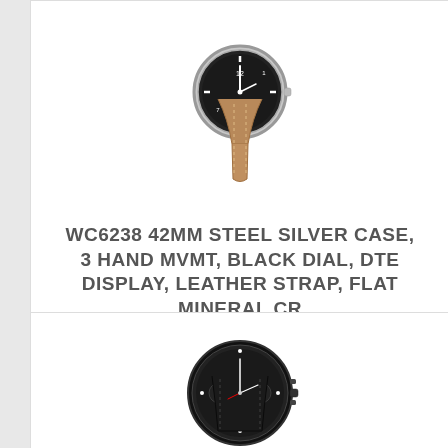[Figure (photo): A watch with silver case, black dial, and tan/brown leather strap, viewed from above at slight angle]
WC6238 42MM STEEL SILVER CASE, 3 HAND MVMT, BLACK DIAL, DTE DISPLAY, LEATHER STRAP, FLAT MINERAL CR
# WC6238
24 day production time
$90.95 - $100.95 | Min. Qty: 12
[Figure (photo): A watch with black case, black dial, chronograph style, with black leather strap, viewed from above at slight angle]